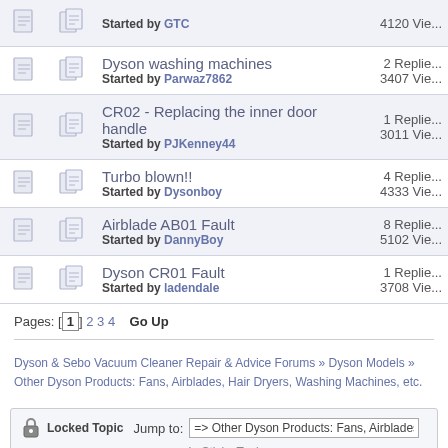|  |  | Topic | Stats |
| --- | --- | --- | --- |
| [icon] | [icon] | Started by GTC | 4120 Vie... |
| [icon] | [icon] | Dyson washing machines
Started by Parwaz7862 | 2 Replie...
3407 Vie... |
| [icon] | [icon] | CR02 - Replacing the inner door handle
Started by PJKenney44 | 1 Replie...
3011 Vie... |
| [icon] | [icon] | Turbo blown!!
Started by Dysonboy | 4 Replie...
4333 Vie... |
| [icon] | [icon] | Airblade AB01 Fault
Started by DannyBoy | 8 Replie...
5102 Vie... |
| [icon] | [icon] | Dyson CR01 Fault
Started by ladendale | 1 Replie...
3708 Vie... |
Pages: [1] 2 3 4   Go Up
Dyson & Sebo Vacuum Cleaner Repair & Advice Forums » Dyson Models » Other Dyson Products: Fans, Airblades, Hair Dryers, Washing Machines, etc.
Locked Topic  Jump to:  => Other Dyson Products: Fans, Airblades, Hair Dryers, W...
Sticky Topic